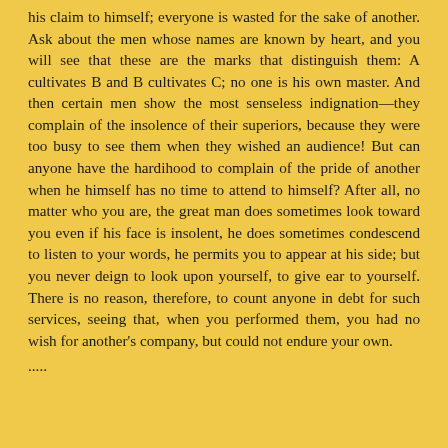his claim to himself; everyone is wasted for the sake of another. Ask about the men whose names are known by heart, and you will see that these are the marks that distinguish them: A cultivates B and B cultivates C; no one is his own master. And then certain men show the most senseless indignation—they complain of the insolence of their superiors, because they were too busy to see them when they wished an audience! But can anyone have the hardihood to complain of the pride of another when he himself has no time to attend to himself? After all, no matter who you are, the great man does sometimes look toward you even if his face is insolent, he does sometimes condescend to listen to your words, he permits you to appear at his side; but you never deign to look upon yourself, to give ear to yourself. There is no reason, therefore, to count anyone in debt for such services, seeing that, when you performed them, you had no wish for another's company, but could not endure your own.
.....